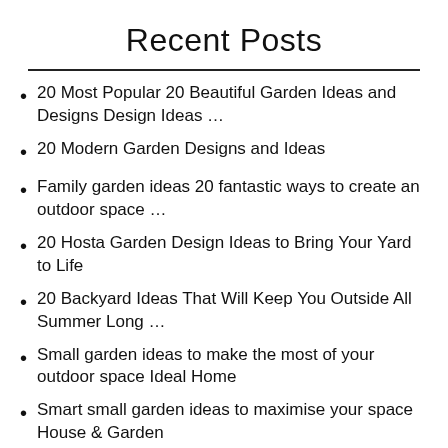Recent Posts
20 Most Popular 20 Beautiful Garden Ideas and Designs Design Ideas …
20 Modern Garden Designs and Ideas
Family garden ideas 20 fantastic ways to create an outdoor space …
20 Hosta Garden Design Ideas to Bring Your Yard to Life
20 Backyard Ideas That Will Keep You Outside All Summer Long …
Small garden ideas to make the most of your outdoor space Ideal Home
Smart small garden ideas to maximise your space House & Garden
Garden Ideas Ideas for All Types of Gardens HGTV